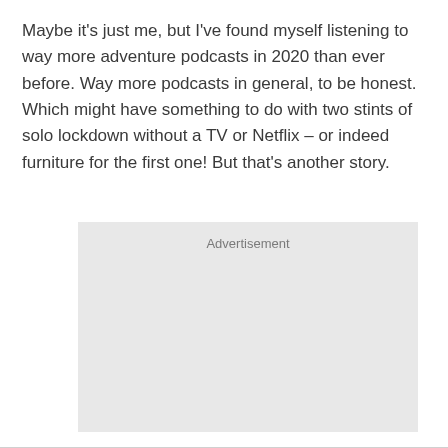Maybe it's just me, but I've found myself listening to way more adventure podcasts in 2020 than ever before. Way more podcasts in general, to be honest. Which might have something to do with two stints of solo lockdown without a TV or Netflix – or indeed furniture for the first one! But that's another story.
[Figure (other): Advertisement placeholder box with light grey background and the label 'Advertisement' at the top center.]